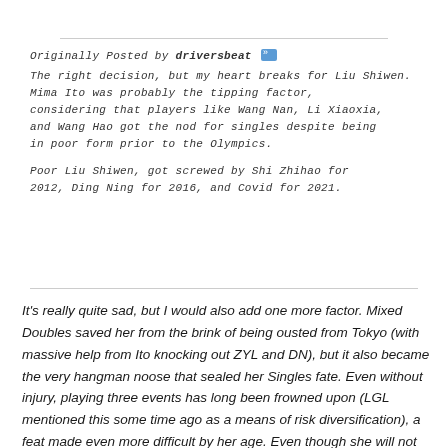Originally Posted by driversbeat »
The right decision, but my heart breaks for Liu Shiwen.
Mima Ito was probably the tipping factor, considering that players like Wang Nan, Li Xiaoxia, and Wang Hao got the nod for singles despite being in poor form prior to the Olympics.

Poor Liu Shiwen, got screwed by Shi Zhihao for 2012, Ding Ning for 2016, and Covid for 2021.
It's really quite sad, but I would also add one more factor. Mixed Doubles saved her from the brink of being ousted from Tokyo (with massive help from Ito knocking out ZYL and DN), but it also became the very hangman noose that sealed her Singles fate. Even without injury, playing three events has long been frowned upon (LGL mentioned this some time ago as a means of risk diversification), a feat made even more difficult by her age. Even though she will not get to participate in the event that most (if not